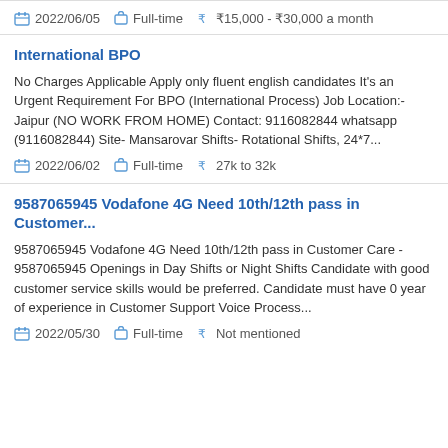2022/06/05  Full-time  ₹15,000 - ₹30,000 a month
International BPO
No Charges Applicable Apply only fluent english candidates It's an Urgent Requirement For BPO (International Process) Job Location:- Jaipur (NO WORK FROM HOME) Contact: 9116082844 whatsapp (9116082844) Site- Mansarovar Shifts- Rotational Shifts, 24*7...
2022/06/02  Full-time  ₹ 27k to 32k
9587065945 Vodafone 4G Need 10th/12th pass in Customer...
9587065945 Vodafone 4G Need 10th/12th pass in Customer Care - 9587065945 Openings in Day Shifts or Night Shifts Candidate with good customer service skills would be preferred. Candidate must have 0 year of experience in Customer Support Voice Process...
2022/05/30  Full-time  ₹ Not mentioned